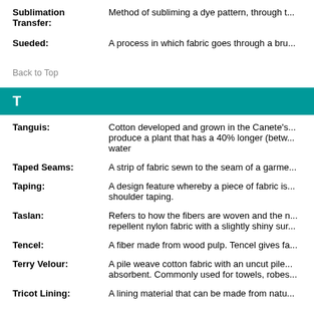Sublimation Transfer: Method of subliming a dye pattern, through t...
Sueded: A process in which fabric goes through a bru...
Back to Top
T
Tanguis: Cotton developed and grown in the Canete's... produce a plant that has a 40% longer (betw... water
Taped Seams: A strip of fabric sewn to the seam of a garme...
Taping: A design feature whereby a piece of fabric is... shoulder taping.
Taslan: Refers to how the fibers are woven and the n... repellent nylon fabric with a slightly shiny sur...
Tencel: A fiber made from wood pulp. Tencel gives fa...
Terry Velour: A pile weave cotton fabric with an uncut pile... absorbent. Commonly used for towels, robes...
Tricot Lining: A lining material that can be made from natu...